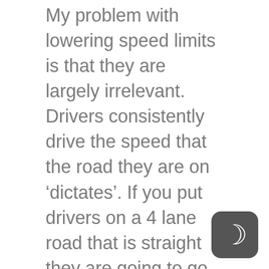My problem with lowering speed limits is that they are largely irrelevant. Drivers consistently drive the speed that the road they are on ‘dictates’. If you put drivers on a 4 lane road that is straight they are going to go faster than on a curvy 2 lane road (look at Foster and Powell as examples). If those roads had 25mph limits I guarantee that everyone would be speeding.
At the end of the day, cars DO need to move. Purposeful grid lock is NOT a good or viable solution for any city. Speed limits and road planning are complicated. That we all ride bikes does not mean that it’s ok to grind all other traffic to a halt. As always, the solution is in the middle. There should be safe wide
[Figure (logo): Dark rounded square icon with a crescent moon symbol (C-shape) in white, suggesting a night mode or app logo]